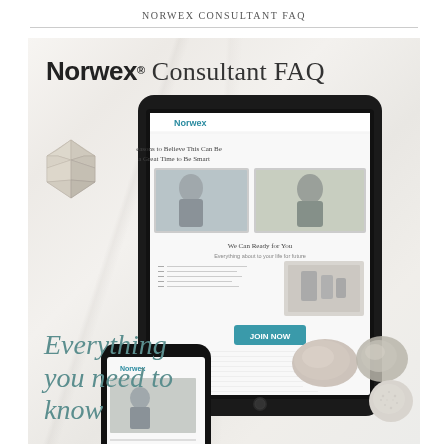NORWEX CONSULTANT FAQ
[Figure (photo): Norwex Consultant FAQ promotional image showing a tablet and smartphone displaying the Norwex website with a 'JOIN NOW' button, placed on a white marble surface alongside decorative stones. Text overlay reads 'Norwex Consultant FAQ' at the top and 'Everything you need to know' in teal italic at the bottom.]